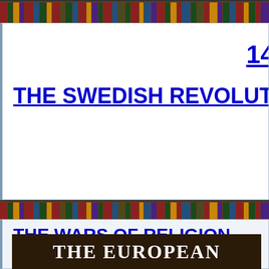[Figure (illustration): Bookshelf banner image showing rows of books with colorful spines at top of page]
14
THE SWEDISH REVOLUT
[Figure (illustration): Middle bookshelf divider banner]
THE WARS OF RELIGION
[Figure (photo): Book cover image with dark background showing text THE EUROPEAN]